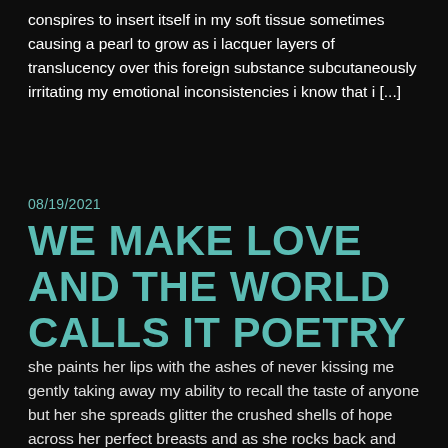conspires to insert itself in my soft tissue sometimes causing a pearl to grow as i lacquer layers of translucency over this foreign substance subcutaneously irritating my emotional inconsistencies i know that i [...]
08/19/2021
WE MAKE LOVE AND THE WORLD CALLS IT POETRY
she paints her lips with the ashes of never kissing me gently taking away my ability to recall the taste of anyone but her she spreads glitter the crushed shells of hope across her perfect breasts and as she rocks back and forth upon me a hundred thousand prayers come to life before my unbelieving [...]